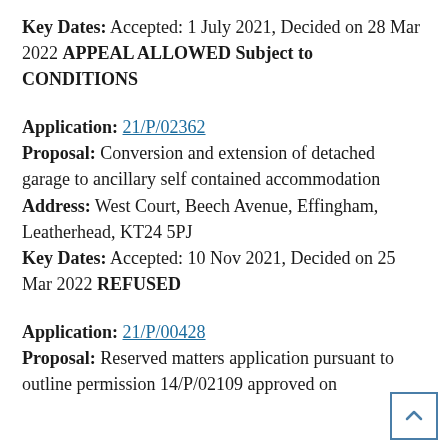Key Dates: Accepted: 1 July 2021, Decided on 28 Mar 2022 APPEAL ALLOWED Subject to CONDITIONS
Application: 21/P/02362
Proposal: Conversion and extension of detached garage to ancillary self contained accommodation
Address: West Court, Beech Avenue, Effingham, Leatherhead, KT24 5PJ
Key Dates: Accepted: 10 Nov 2021, Decided on 25 Mar 2022 REFUSED
Application: 21/P/00428
Proposal: Reserved matters application pursuant to outline permission 14/P/02109 approved on